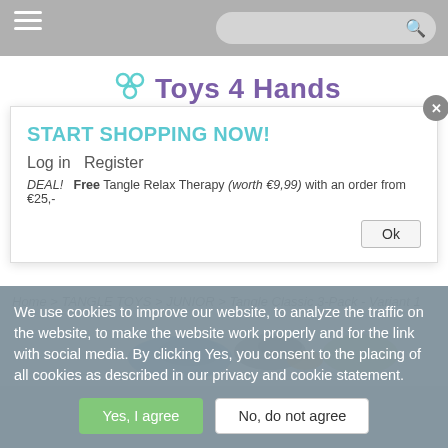[Navigation bar with hamburger menu and search bar]
[Figure (logo): Toys 4 Hands logo with tangle toy icon in teal/mint and purple text]
START SHOPPING NOW!
Log in  Register
DEAL!  Free Tangle Relax Therapy (worth €9,99) with an order from €25,-
Ok
Home > TANGLE TOYS > JUNIOR > Tangle Classic 3-Pack - Variant 1
[Figure (photo): Tangle Classic 3-Pack toys in blue, orange, green colors]
We use cookies to improve our website, to analyze the traffic on the website, to make the website work properly and for the link with social media. By clicking Yes, you consent to the placing of all cookies as described in our privacy and cookie statement.
Yes, I agree
No, do not agree